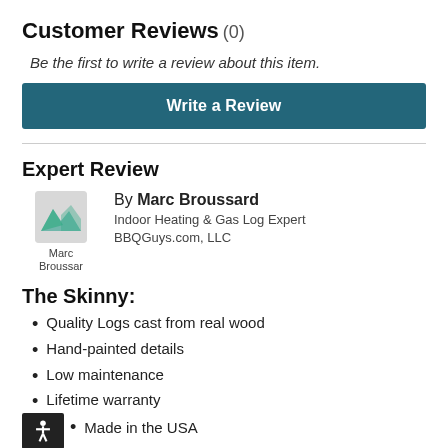Customer Reviews (0)
Be the first to write a review about this item.
Write a Review
Expert Review
By Marc Broussard
Indoor Heating & Gas Log Expert
BBQGuys.com, LLC
The Skinny:
Quality Logs cast from real wood
Hand-painted details
Low maintenance
Lifetime warranty
Made in the USA